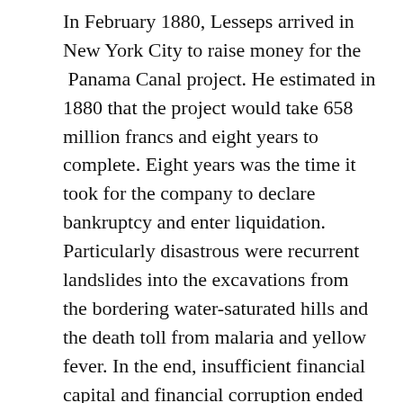In February 1880, Lesseps arrived in New York City to raise money for the Panama Canal project. He estimated in 1880 that the project would take 658 million francs and eight years to complete. Eight years was the time it took for the company to declare bankruptcy and enter liquidation. Particularly disastrous were recurrent landslides into the excavations from the bordering water-saturated hills and the death toll from malaria and yellow fever. In the end, insufficient financial capital and financial corruption ended the project. According to a report by Dr. Gorgas (the man who minimized the effects of yellow fever and malaria during the American construction period), it is possible that some 22,000 workers died during the French construction period.
Several years later, with new technologies and medical equipment, Americans were able to build the canal. The canal was built in 1904–1914 after the territory was...